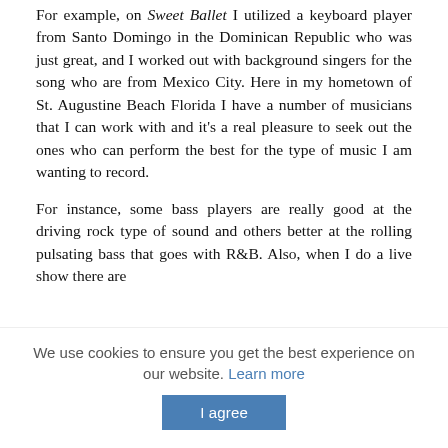For example, on Sweet Ballet I utilized a keyboard player from Santo Domingo in the Dominican Republic who was just great, and I worked out with background singers for the song who are from Mexico City. Here in my hometown of St. Augustine Beach Florida I have a number of musicians that I can work with and it's a real pleasure to seek out the ones who can perform the best for the type of music I am wanting to record.
For instance, some bass players are really good at the driving rock type of sound and others better at the rolling pulsating bass that goes with R&B. Also, when I do a live show there are
We use cookies to ensure you get the best experience on our website. Learn more
I agree